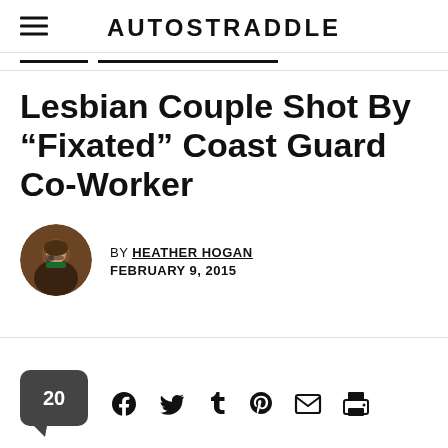AUTOSTRADDLE
Lesbian Couple Shot By “Fixated” Coast Guard Co-Worker
BY HEATHER HOGAN
FEBRUARY 9, 2015
[Figure (other): Author avatar photo of Heather Hogan]
20 [comments] [social sharing icons: Facebook, Twitter, Tumblr, Pinterest, Email, Print]